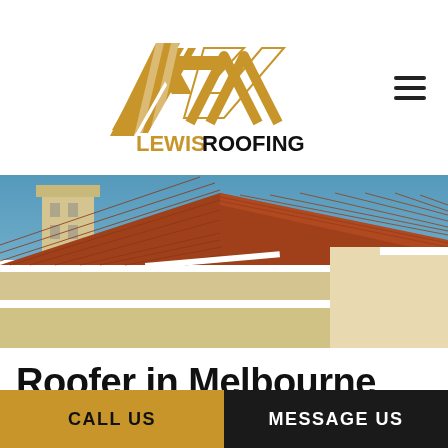[Figure (logo): Lewis Roofing logo with golden house/roof icon and text LEWIS ROOFING]
[Figure (photo): Aerial/close-up photo of a house roof with red/terracotta tiles, a chimney on the left, blue sky background]
Roofer in Melbourne
CALL US
MESSAGE US